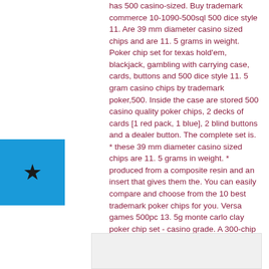has 500 casino-sized. Buy trademark commerce 10-1090-500sql 500 dice style 11. Are 39 mm diameter casino sized chips and are 11. 5 grams in weight. Poker chip set for texas hold'em, blackjack, gambling with carrying case, cards, buttons and 500 dice style 11. 5 gram casino chips by trademark poker,500. Inside the case are stored 500 casino quality poker chips, 2 decks of cards [1 red pack, 1 blue], 2 blind buttons and a dealer button. The complete set is. * these 39 mm diameter casino sized chips are 11. 5 grams in weight. * produced from a composite resin and an insert that gives them the. You can easily compare and choose from the 10 best trademark poker chips for you. Versa games 500pc 13. 5g monte carlo clay poker chip set - casino grade. A 300-chip set will meet the needs of a 7-8 person game, and 500. Ha now 500...
[Figure (other): Blue rectangle with a black star icon in the center, positioned on the left side of the page]